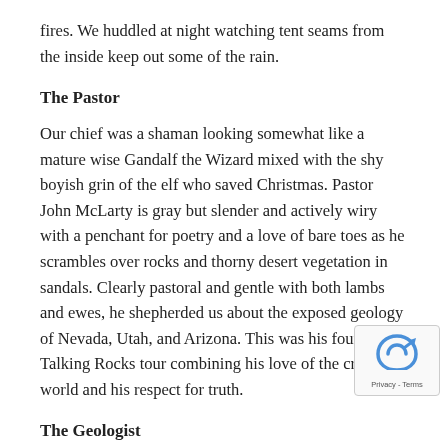fires. We huddled at night watching tent seams from the inside keep out some of the rain.
The Pastor
Our chief was a shaman looking somewhat like a mature wise Gandalf the Wizard mixed with the shy boyish grin of the elf who saved Christmas. Pastor John McLarty is gray but slender and actively wiry with a penchant for poetry and a love of bare toes as he scrambles over rocks and thorny desert vegetation in sandals. Clearly pastoral and gentle with both lambs and ewes, he shepherded us about the exposed geology of Nevada, Utah, and Arizona. This was his fourth Talking Rocks tour combining his love of the created world and his respect for truth.
The Geologist
At the shaman's right hand was our tested warrior, Dr.